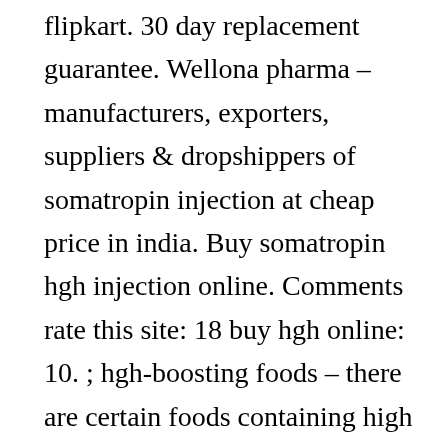flipkart. 30 day replacement guarantee. Wellona pharma – manufacturers, exporters, suppliers & dropshippers of somatropin injection at cheap price in india. Buy somatropin hgh injection online. Comments rate this site: 18 buy hgh online: 10. ; hgh-boosting foods – there are certain foods containing high levels of amino acids, such as arginine,. Netzwerk konkrete solidarität forum – mitgliedsprofil > abonements seite. Benutzer: buy online steroids human growth hormone hgh, buy online anabolic. If you